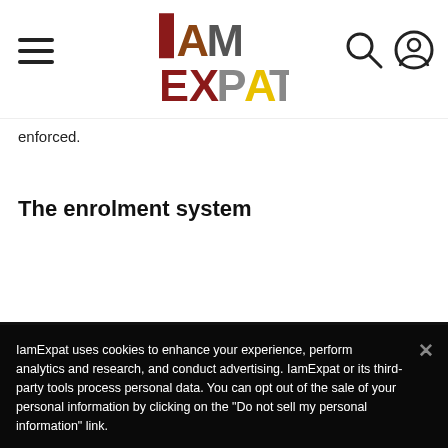IamExpat logo header with hamburger menu and nav icons
enforced.
The enrolment system
IamExpat uses cookies to enhance your experience, perform analytics and research, and conduct advertising. IamExpat or its third-party tools process personal data. You can opt out of the sale of your personal information by clicking on the "Do not sell my personal information" link.
Do not sell my personal information
OK